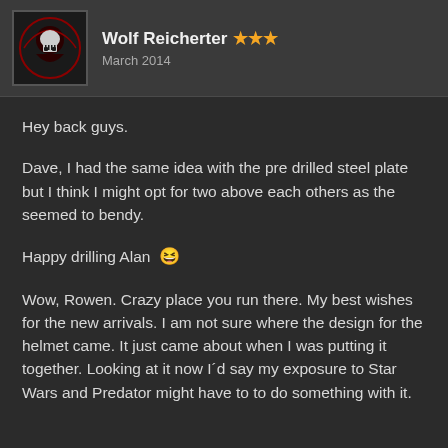Wolf Reicherter ★★★ March 2014
Hey back guys.
Dave, I had the same idea with the pre drilled steel plate but I think I might opt for two above each others as the seemed to bendy.
Happy drilling Alan 😆
Wow, Rowen. Crazy place you run there. My best wishes for the new arrivals. I am not sure where the design for the helmet came. It just came about when I was putting it together. Looking at it now I´d say my exposure to Star Wars and Predator might have to to do something with it.